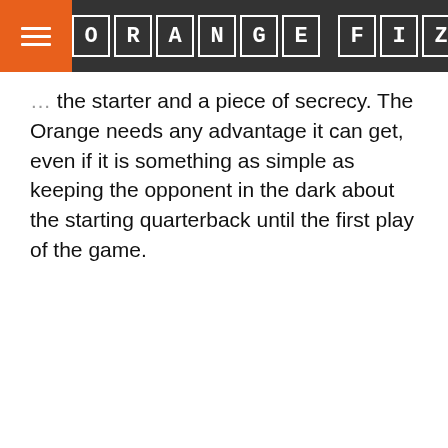ORANGE FIZZ
the starter and a piece of secrecy. The Orange needs any advantage it can get, even if it is something as simple as keeping the opponent in the dark about the starting quarterback until the first play of the game.